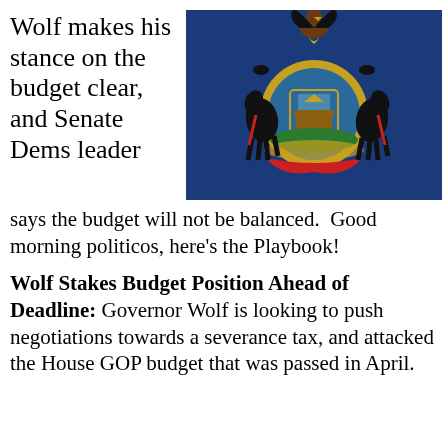Wolf makes his stance on the budget clear, and Senate Dems leader says the budget will not be balanced.  Good morning politicos, here’s the Playbook!
[Figure (illustration): Pennsylvania state flag: dark blue background with the Pennsylvania coat of arms featuring two black horses, an eagle, a shield with a ship, plow and wheat sheaves, and a red ribbon banner.]
Wolf Stakes Budget Position Ahead of Deadline: Governor Wolf is looking to push negotiations towards a severance tax, and attacked the House GOP budget that was passed in April.